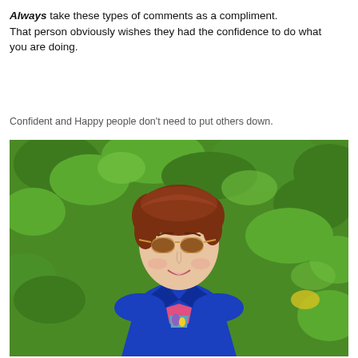Always take these types of comments as a compliment. That person obviously wishes they had the confidence to do what you are doing.
Confident and Happy people don't need to put others down.
[Figure (photo): A smiling woman with short auburn hair, wearing aviator sunglasses and a bright blue blazer over a colorful patterned top, standing in front of lush green foliage.]